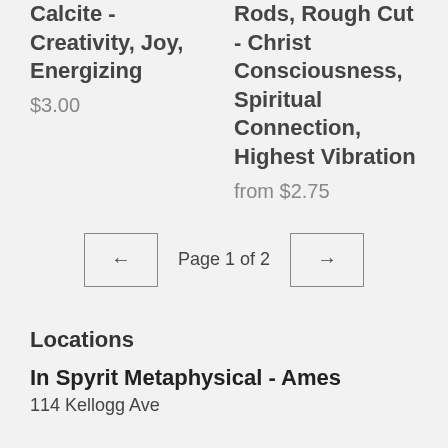Calcite - Creativity, Joy, Energizing
$3.00
Rods, Rough Cut - Christ Consciousness, Spiritual Connection, Highest Vibration
from $2.75
← Page 1 of 2 →
Locations
In Spyrit Metaphysical - Ames
114 Kellogg Ave